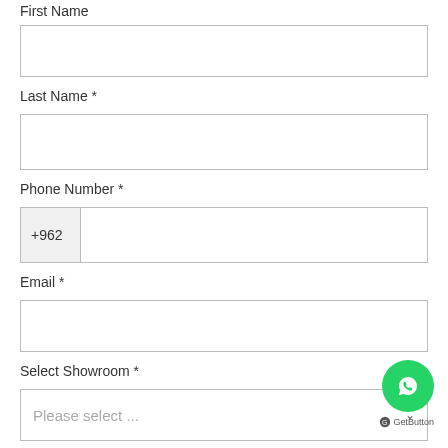First Name
Last Name *
Phone Number *
Email *
Select Showroom *
Please select ...